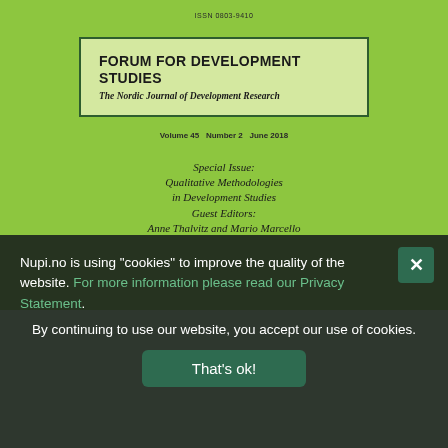[Figure (other): Journal cover for Forum for Development Studies on green background with title box, ISSN, volume info, and special issue text]
Nupi.no is using "cookies" to improve the quality of the website. For more information please read our Privacy Statement. By continuing to use our website, you accept our use of cookies.
That's ok!